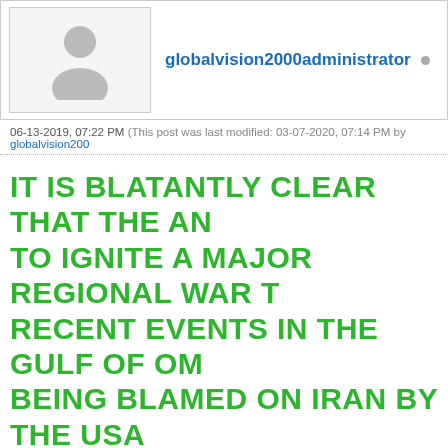[Figure (illustration): User avatar showing a generic silhouette person icon in gray]
globalvision2000administrator
06-13-2019, 07:22 PM (This post was last modified: 03-07-2020, 07:14 PM by globalvision2000administrator)
IT IS BLATANTLY CLEAR THAT THE AMERICANS ARE TRYING TO IGNITE A MAJOR REGIONAL WAR THROUGH FALSE FLAGS. RECENT EVENTS IN THE GULF OF OMAN WITH TANKERS BEING BLAMED ON IRAN BY THE USA AS IRAN WAS TRYING TO RESCUE THE CREWS. THE SITUATION UNDERMINES EFFORTS TO STRENGTHEN MUSLIM UNITY AND EXACERBATES INTRAMUSLIM TENSIONS.
MEANWHILE FOLLOWING THE DOWNING WE HAVE THE DESTRUCTION OF AN AMERICAN